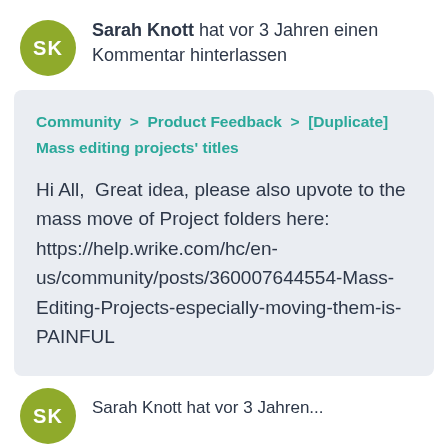Sarah Knott hat vor 3 Jahren einen Kommentar hinterlassen
Community > Product Feedback > [Duplicate] Mass editing projects' titles
Hi All,  Great idea, please also upvote to the mass move of Project folders here: https://help.wrike.com/hc/en-us/community/posts/360007644554-Mass-Editing-Projects-especially-moving-them-is-PAINFUL
Sarah Knott hat vor 3 Jahren...